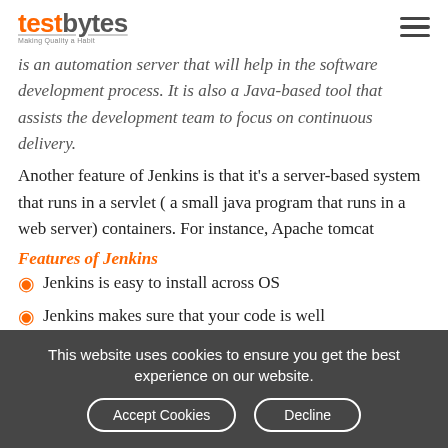testbytes — Making Quality a Habit
is an automation server that will help in the software development process. It is also a Java-based tool that assists the development team to focus on continuous delivery.
Another feature of Jenkins is that it's a server-based system that runs in a servlet ( a small java program that runs in a web server) containers. For instance, Apache tomcat
Features of Jenkins
Jenkins is easy to install across OS
Jenkins makes sure that your code is well
This website uses cookies to ensure you get the best experience on our website.